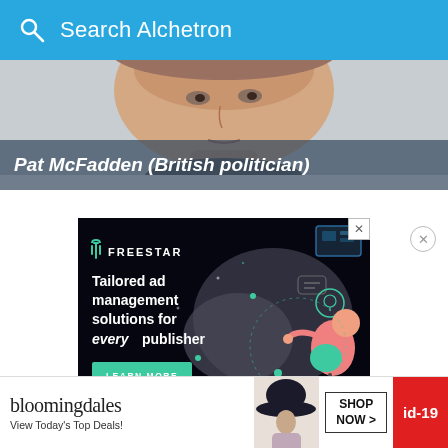Search Alchetron
[Figure (photo): Close-up photo of Pat McFadden's face, a middle-aged man, cropped at forehead and chin, gray background]
Pat McFadden (British politician)
[Figure (infographic): Freestar advertisement: black background with illustrated characters, green accent colors. Text reads: FREESTAR — Tailored ad management solutions for every publisher. Green LEARN MORE button.]
[Figure (infographic): Bloomingdale's bottom banner advertisement: bloomingdales logo, 'View Today's Top Deals!', photo of person in hat, SHOP NOW button, id-19 red badge]